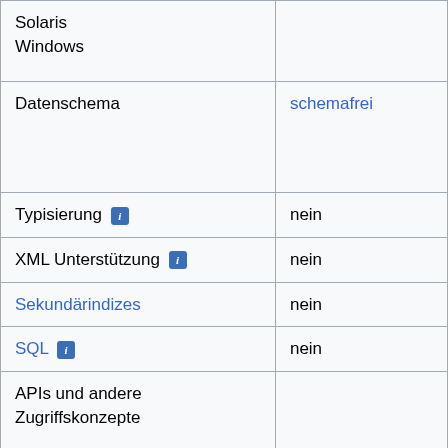| Solaris
Windows |  |
| Datenschema | schemafrei |
| Typisierung [i] | nein |
| XML Unterstützung [i] | nein |
| Sekundärindizes | nein |
| SQL [i] | nein |
| APIs und andere Zugriffskonzepte |  |